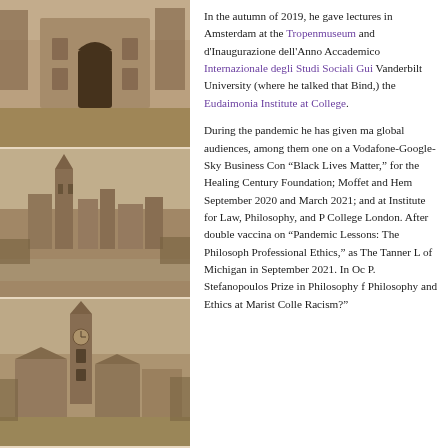[Figure (photo): Sepia-toned photograph of a grand institutional building with arched gateway and long pathway, flanked by bare trees]
[Figure (photo): Sepia-toned aerial or elevated photograph of a cityscape with gothic university towers and buildings along a river]
[Figure (photo): Sepia-toned photograph of a university campus with a prominent clock tower and historic buildings surrounded by fields]
In the autumn of 2019, he gave lectures in Amsterdam at the Tropenmuseum and d'Inaugurazione dell'Anno Accademico Internazionale degli Studi Sociali Guido, Vanderbilt University (where he talked that Bind,) the Eudaimonia Institute at College.
During the pandemic he has given many lectures to global audiences, among them one on a Vodafone-Google-Sky Business Conference, “Black Lives Matter,” for the Healing Century Foundation; Moffet and Hem September 2020 and March 2021; and at Institute for Law, Philosophy, and P College London. After double vaccination on “Pandemic Lessons: The Philosophy Professional Ethics,” as The Tanner Lecture of Michigan in September 2021. In October P. Stefanopoulos Prize in Philosophy for Philosophy and Ethics at Marist College Racism?”